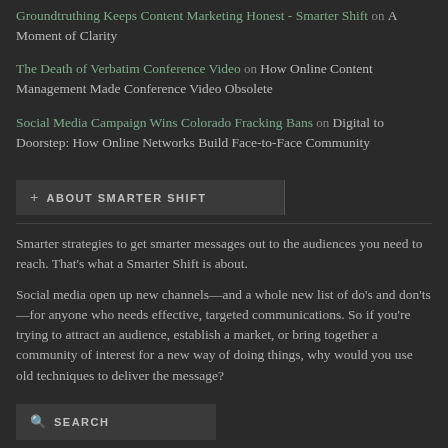Groundtruthing Keeps Content Marketing Honest - Smarter Shift on A Moment of Clarity
The Death of Verbatim Conference Video on How Online Content Management Made Conference Video Obsolete
Social Media Campaign Wins Colorado Fracking Bans on Digital to Doorstep: How Online Networks Build Face-to-Face Community
+ ABOUT SMARTER SHIFT
Smarter strategies to get smarter messages out to the audiences you need to reach. That's what a Smarter Shift is about.
Social media open up new channels—and a whole new list of do's and don'ts—for anyone who needs effective, targeted communications. So if you're trying to attract an audience, establish a market, or bring together a community of interest for a new way of doing things, why would you use old techniques to deliver the message?
SEARCH